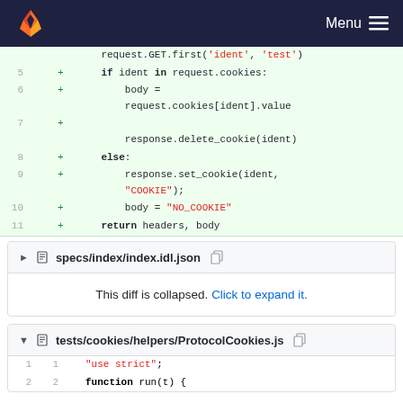[Figure (screenshot): GitLab navigation bar with orange fox logo and Menu button on dark navy background]
[Figure (screenshot): Git diff code block showing Python lines 5-11 with additions (green background): if ident in request.cookies, body = request.cookies[ident].value, response.delete_cookie(ident), else:, response.set_cookie(ident, 'COOKIE'), body = 'NO_COOKIE', return headers, body]
[Figure (screenshot): Collapsed diff file section for specs/index/index.idl.json with 'This diff is collapsed. Click to expand it.' message]
[Figure (screenshot): Expanded diff file header for tests/cookies/helpers/ProtocolCookies.js and first two lines: 1 'use strict'; 2 function run(t) {]